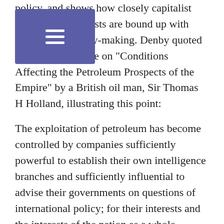policy, and shows how closely capitalist commercial interests are bound up with government policy-making. Denby quoted from a 1927 article on "Conditions Affecting the Petroleum Prospects of the Empire" by a British oil man, Sir Thomas H Holland, illustrating this point:
The exploitation of petroleum has become controlled by companies sufficiently powerful to establish their own intelligence branches and sufficiently influential to advise their governments on questions of international policy; for their interests and the interests of the nation as a whole roughly coincide (p273).
Of course "the interests of the nation as a whole" does not exactly mean that.
For as we ail know, we - the vast majority of those who make up that fictional entity "the nation" - after ail the